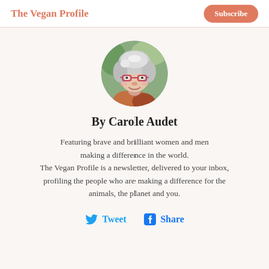The Vegan Profile | Subscribe
[Figure (photo): Circular profile photo of a smiling older woman with curly white/grey hair and red glasses, wearing a scarf]
By Carole Audet
Featuring brave and brilliant women and men making a difference in the world. The Vegan Profile is a newsletter, delivered to your inbox, profiling the people who are making a difference for the animals, the planet and you.
Tweet  Share